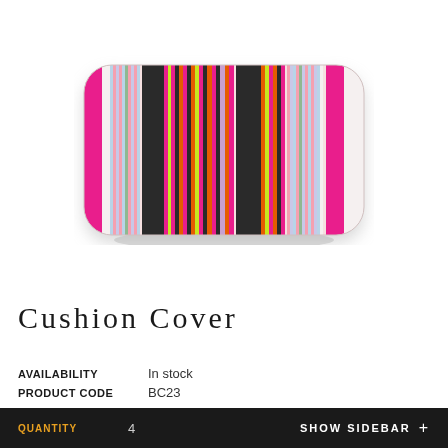[Figure (photo): A rectangular decorative cushion cover featuring colorful horizontal and vertical stripes in pink, orange, purple, green, black and white with zigzag and other woven patterns. The cushion is photographed from above on a white background with a subtle shadow.]
Cushion Cover
AVAILABILITY: In stock
PRODUCT CODE: BC23
QUANTITY: 4
SHOW SIDEBAR +